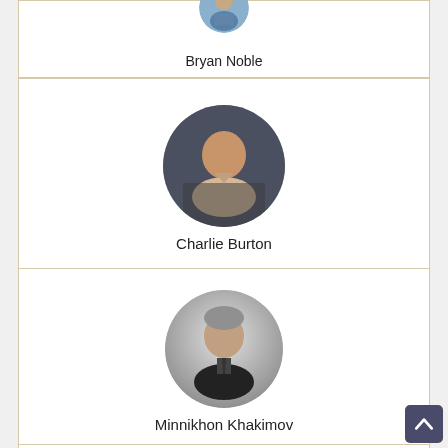[Figure (photo): Circular profile photo of Bryan Noble, partially visible at top (cropped)]
Bryan Noble
[Figure (photo): Circular profile photo of Charlie Burton, man in light-colored shirt seated]
Charlie Burton
[Figure (photo): Circular profile photo of Minnikhon Khakimov, older man in dark jacket]
Minnikhon Khakimov
[Figure (photo): Circular profile photo, partially visible at bottom of page, smiling man]